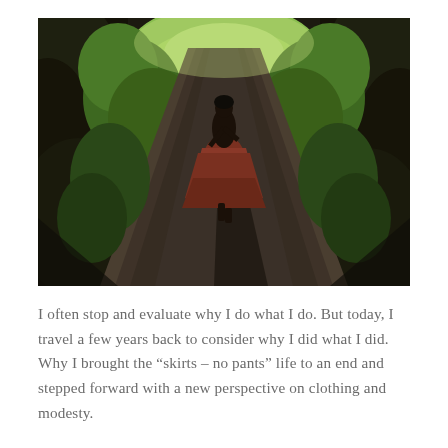[Figure (photo): A woman in a flowing reddish skirt walking away down a narrow tree-lined garden path, sunlight creating dramatic shadows, lush green foliage on both sides, viewed from behind.]
I often stop and evaluate why I do what I do. But today, I travel a few years back to consider why I did what I did. Why I brought the “skirts – no pants” life to an end and stepped forward with a new perspective on clothing and modesty.